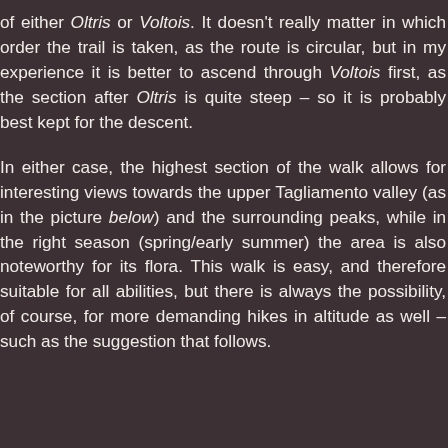of either Oltris or Voltois. It doesn't really matter in which order the trail is taken, as the route is circular, but in my experience it is better to ascend through Voltois first, as the section after Oltris is quite steep – so it is probably best kept for the descent.

In either case, the highest section of the walk allows for interesting views towards the upper Tagliamento valley (as in the picture below) and the surrounding peaks, while in the right season (spring/early summer) the area is also noteworthy for its flora. This walk is easy, and therefore suitable for all abilities, but there is always the possibility, of course, for more demanding hikes in altitude as well – such as the suggestion that follows.